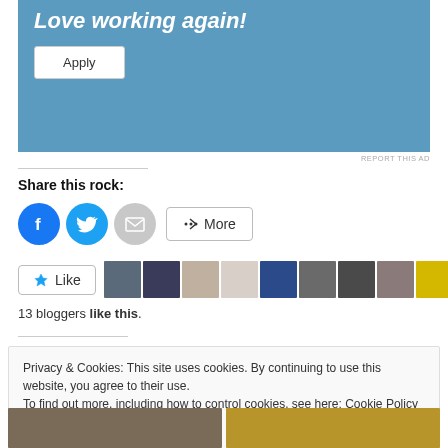[Figure (screenshot): Ad banner with blue background, italic bold text 'Love working again!' and a white 'Apply' button]
REPORT THIS AD
Share this rock:
[Figure (infographic): Social share buttons row: Facebook (blue circle), Twitter (blue circle), Email (grey circle), and More button with share icon]
[Figure (infographic): Like button with star icon, followed by a strip of 10 blogger avatar thumbnails]
13 bloggers like this.
Privacy & Cookies: This site uses cookies. By continuing to use this website, you agree to their use.
To find out more, including how to control cookies, see here: Cookie Policy
Close and accept
[Figure (photo): Two small thumbnail images at the bottom of the page]